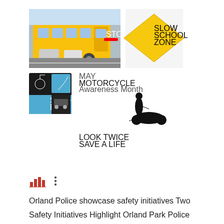[Figure (photo): Top row: photo of a yellow school bus with cars behind it and a yellow 'Slow School Zone' diamond warning sign. Bottom row: black and white icons for 'Share the Road' motorcycle awareness including motorcycle rider silhouettes and text 'May Motorcycle Awareness Month' and 'Look Twice Save a Life'.]
[Figure (infographic): Small red bar chart icon followed by a three-dot vertical menu icon.]
Orland Police showcase safety initiatives Two Safety Initiatives Highlight Orland Park Police Department May Calendar The Orland Park Police Department is observing two public safety initiatives during the month of May. "Cop On A Bus" has patrol officers riding school buses to watch for vehicles passing school buses when the stop arms are out and...